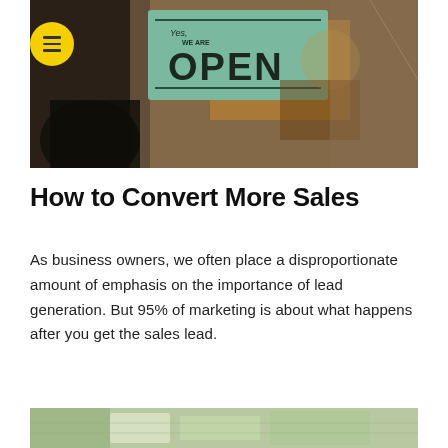[Figure (photo): Storefront window with a teal 'Yes, we are OPEN' sign hanging, with a blurred interior showing wooden furniture and a person in the background.]
How to Convert More Sales
As business owners, we often place a disproportionate amount of emphasis on the importance of lead generation. But 95% of marketing is about what happens after you get the sales lead.
[Figure (photo): Partial view of a second image at the bottom of the page, appearing to show documents or papers on a surface.]